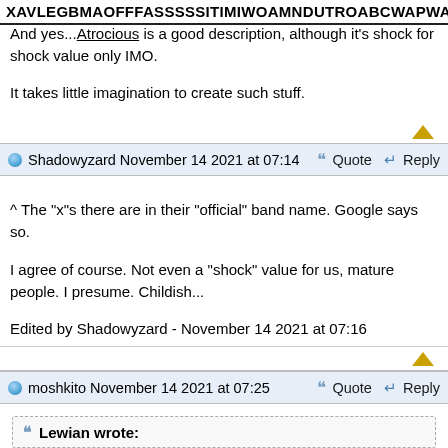XAVLEGBMAOFFFASSSSSITIMIWOAMNDUTROABCWAPWAEIIPPOHFFR
And yes...Atrocious is a good description, although it's shock for shock value only IMO.
It takes little imagination to create such stuff.
Shadowyzard November 14 2021 at 07:14   Quote  Reply
^ The "x"s there are in their "official" band name. Google says so.

I agree of course. Not even a "shock" value for us, mature people. I presume. Childish...

Edited by Shadowyzard - November 14 2021 at 07:16
moshkito November 14 2021 at 07:25   Quote  Reply
Lewian wrote: